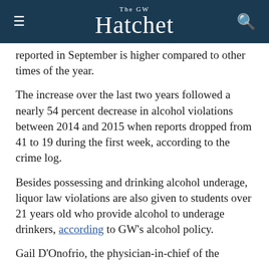The GW Hatchet
reported in September is higher compared to other times of the year.
The increase over the last two years followed a nearly 54 percent decrease in alcohol violations between 2014 and 2015 when reports dropped from 41 to 19 during the first week, according to the crime log.
Besides possessing and drinking alcohol underage, liquor law violations are also given to students over 21 years old who provide alcohol to underage drinkers, according to GW's alcohol policy.
Gail D'Onofrio, the physician-in-chief of the